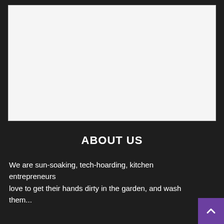[Figure (other): Large white/light gray rectangular placeholder image area with a dark border, occupying the upper portion of a dark-background webpage.]
ABOUT US
We are sun-soaking, tech-hoarding, kitchen entrepreneurs love to get their hands dirty in the garden, and wash them ...